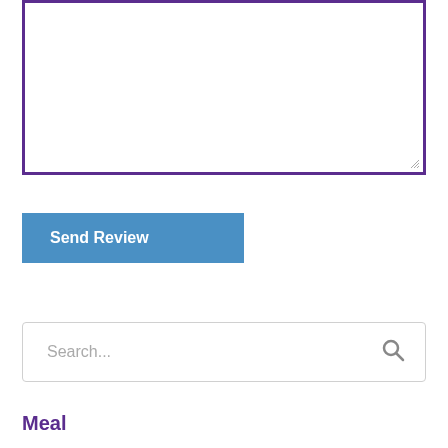[Figure (screenshot): Empty textarea input box with purple border and resize handle in bottom-right corner]
Send Review
Search...
Meal